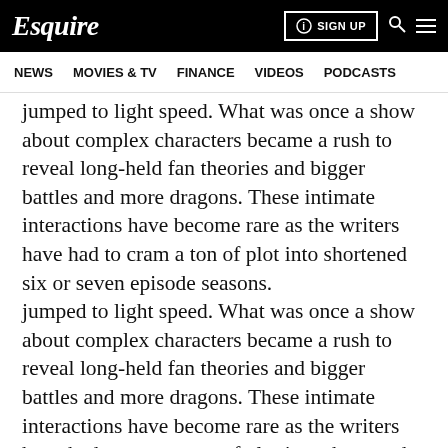Esquire | NEWS  MOVIES & TV  FINANCE  VIDEOS  PODCASTS | SIGN UP
jumped to light speed. What was once a show about complex characters became a rush to reveal long-held fan theories and bigger battles and more dragons. These intimate interactions have become rare as the writers have had to cram a ton of plot into shortened six or seven episode seasons.
CONTINUE READING BELOW ▼
RECOMMENDED VIDEOS
But these sweet moments should also be a pretty clear indication that everyone is going to die. Game